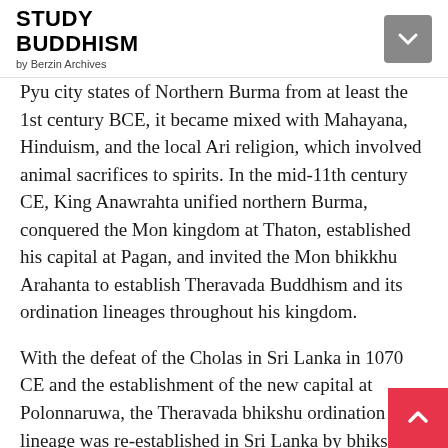STUDY BUDDHISM by Berzin Archives
Pyu city states of Northern Burma from at least the 1st century BCE, it became mixed with Mahayana, Hinduism, and the local Ari religion, which involved animal sacrifices to spirits. In the mid-11th century CE, King Anawrahta unified northern Burma, conquered the Mon kingdom at Thaton, established his capital at Pagan, and invited the Mon bhikkhu Arahanta to establish Theravada Buddhism and its ordination lineages throughout his kingdom.
With the defeat of the Cholas in Sri Lanka in 1070 CE and the establishment of the new capital at Polonnaruwa, the Theravada bhikshu ordination lineage was re-established in Sri Lanka by bhikshus invited from Pagan. King Anawrahta, however, questioned the purity of the Mon bhikshuni lineage and, consequently, did not send any bhikshunis to re-establish the bhikshuni ordination. Thus, the Theravada ordination lineage of bhikshunis was not revived at that time.